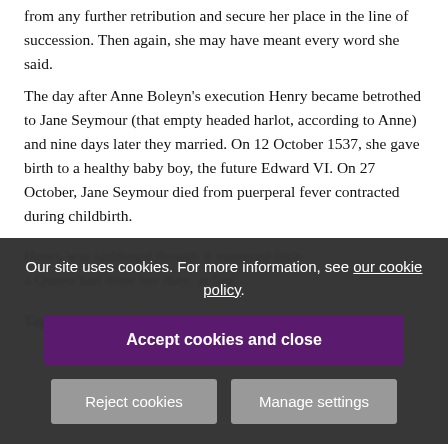from any further retribution and secure her place in the line of succession. Then again, she may have meant every word she said.
The day after Anne Boleyn's execution Henry became betrothed to Jane Seymour (that empty headed harlot, according to Anne) and nine days later they married. On 12 October 1537, she gave birth to a healthy baby boy, the future Edward VI. On 27 October, Jane Seymour died from puerperal fever contracted during childbirth.
Henry was saddened though it mattered little. a Queen had done her duty, at last.
Tagged
[Figure (screenshot): Cookie consent banner overlay with dark background. Contains message 'Our site uses cookies. For more information, see our cookie policy.' with a purple 'Accept cookies and close' button and two grey buttons 'Reject cookies' and 'Manage settings'.]